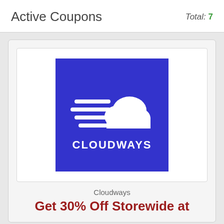Active Coupons
Total: 7
[Figure (logo): Cloudways logo: blue square background with white cloud and speed lines graphic, with CLOUDWAYS text below in white]
Cloudways
Get 30% Off Storewide at